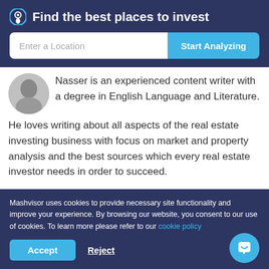Find the best places to invest
[Figure (screenshot): Search bar with 'Enter a Location' input and 'Start Analyzing' button]
Nasser is an experienced content writer with a degree in English Language and Literature. He loves writing about all aspects of the real estate investing business with focus on market and property analysis and the best sources which every real estate investor needs in order to succeed.
Mashvisor uses cookies to provide necessary site functionality and improve your experience. By browsing our website, you consent to our use of cookies. To learn more please refer to our cookie policy
Accept
Reject